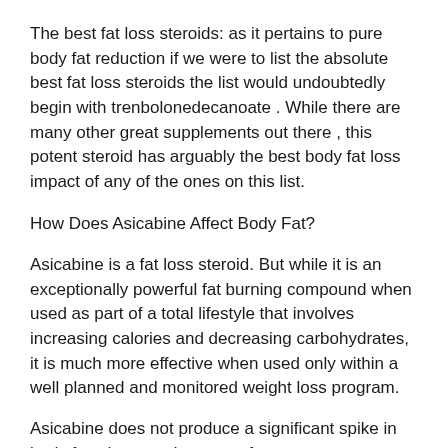The best fat loss steroids: as it pertains to pure body fat reduction if we were to list the absolute best fat loss steroids the list would undoubtedly begin with trenbolonedecanoate . While there are many other great supplements out there , this potent steroid has arguably the best body fat loss impact of any of the ones on this list.
How Does Asicabine Affect Body Fat?
Asicabine is a fat loss steroid. But while it is an exceptionally powerful fat burning compound when used as part of a total lifestyle that involves increasing calories and decreasing carbohydrates, it is much more effective when used only within a well planned and monitored weight loss program.
Asicabine does not produce a significant spike in body fat when used as part of a